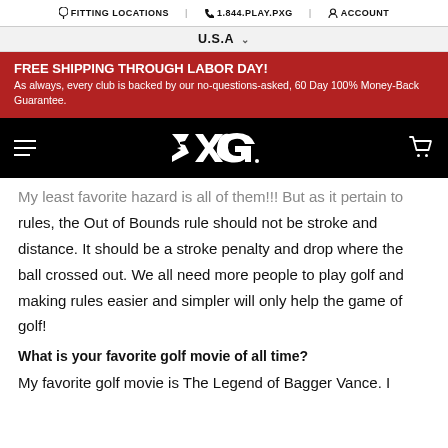FITTING LOCATIONS | 1.844.PLAY.PXG | ACCOUNT
U.S.A
FREE SHIPPING THROUGH LABOR DAY! As always, every club is backed by our no-questions-asked, 60 Day 100% Money-Back Guarantee.
[Figure (logo): PXG logo in white on black background with hamburger menu and cart icon]
My least favorite hazard is all of them!!! But as it pertain to rules, the Out of Bounds rule should not be stroke and distance. It should be a stroke penalty and drop where the ball crossed out. We all need more people to play golf and making rules easier and simpler will only help the game of golf!
What is your favorite golf movie of all time?
My favorite golf movie is The Legend of Bagger Vance. I